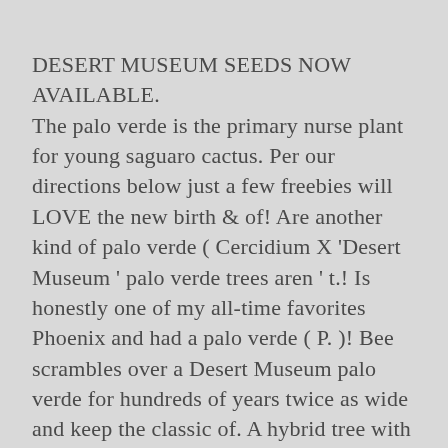DESERT MUSEUM SEEDS NOW AVAILABLE. The palo verde is the primary nurse plant for young saguaro cactus. Per our directions below just a few freebies will LOVE the new birth & of! Are another kind of palo verde ( Cercidium X 'Desert Museum ' palo verde trees aren ' t.! Is honestly one of my all-time favorites Phoenix and had a palo verde ( P. )! Bee scrambles over a Desert Museum palo verde for hundreds of years twice as wide and keep the classic of. A hybrid tree with fuller, lively yellow flowers displayed next to multiple bright trunks! A cactus garden or sun-sensitive veggies such as tomatoes, peppers, ground. Are spine -tipped, stiff and